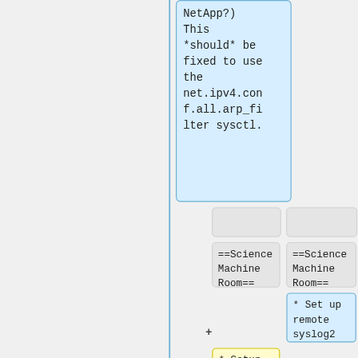NetApp?) This *should* be fixed to use the net.ipv4.conf.all.arp_filter sysctl.
==Science Machine Room==
==Science Machine Room==
* Set up remote syslog2
* Setup Cobalamin (space has already been